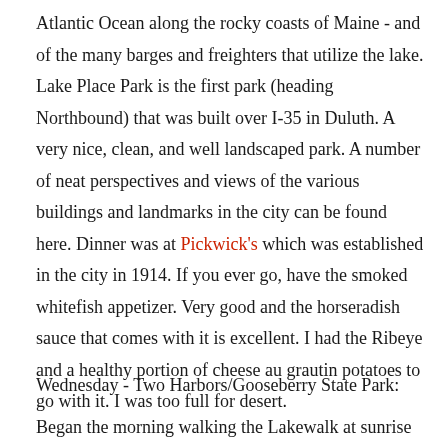Atlantic Ocean along the rocky coasts of Maine - and of the many barges and freighters that utilize the lake. Lake Place Park is the first park (heading Northbound) that was built over I-35 in Duluth. A very nice, clean, and well landscaped park. A number of neat perspectives and views of the various buildings and landmarks in the city can be found here. Dinner was at Pickwick's which was established in the city in 1914. If you ever go, have the smoked whitefish appetizer. Very good and the horseradish sauce that comes with it is excellent. I had the Ribeye and a healthy portion of cheese au grautin potatoes to go with it. I was too full for desert.
Wednesday - Two Harbors/Gooseberry State Park:
Began the morning walking the Lakewalk at sunrise for a